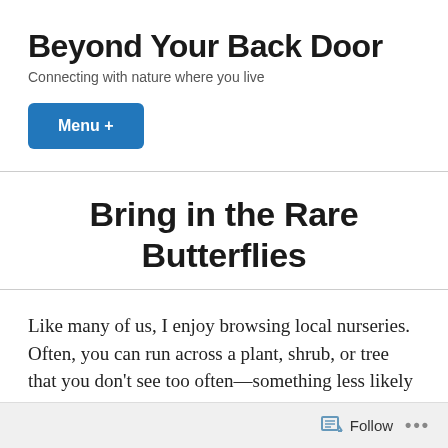Beyond Your Back Door
Connecting with nature where you live
Menu +
Bring in the Rare Butterflies
Like many of us, I enjoy browsing local nurseries. Often, you can run across a plant, shrub, or tree that you don't see too often—something less likely to happen at gardening departments in big box stores. For example, about a year ago while browsing I noticed a tree for sale
Follow ...